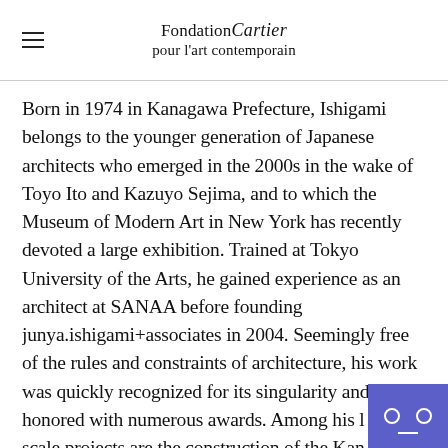Fondation Cartier pour l'art contemporain
Born in 1974 in Kanagawa Prefecture, Ishigami belongs to the younger generation of Japanese architects who emerged in the 2000s in the wake of Toyo Ito and Kazuyo Sejima, and to which the Museum of Modern Art in New York has recently devoted a large exhibition. Trained at Tokyo University of the Arts, he gained experience as an architect at SANAA before founding junya.ishigami+associates in 2004. Seemingly free of the rules and constraints of architecture, his work was quickly recognized for its singularity and honored with numerous awards. Among his large scale projects are the construction of the Kanagawa Institute of Technology Workshop in Japan…